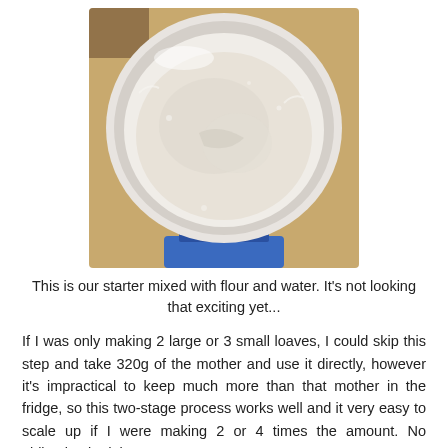[Figure (photo): Top-down view of a white bowl containing sourdough starter mixed with flour and water, placed on a blue digital scale on a wooden surface. The mixture appears thick and paste-like, off-white in color.]
This is our starter mixed with flour and water. It's not looking that exciting yet...
If I was only making 2 large or 3 small loaves, I could skip this step and take 320g of the mother and use it directly, however it's impractical to keep much more than that mother in the fridge, so this two-stage process works well and it very easy to scale up if I were making 2 or 4 times the amount. No obligation in doing so.